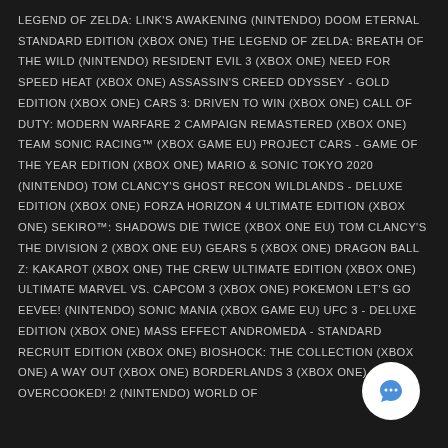LEGEND OF ZELDA: LINK'S AWAKENING (NINTENDO) DOOM ETERNAL STANDARD EDITION (XBOX ONE) THE LEGEND OF ZELDA: BREATH OF THE WILD (NINTENDO) RESIDENT EVIL 3 (XBOX ONE) NEED FOR SPEED HEAT (XBOX ONE) ASSASSIN'S CREED ODYSSEY - GOLD EDITION (XBOX ONE) CARS 3: DRIVEN TO WIN (XBOX ONE) CALL OF DUTY: MODERN WARFARE 2 CAMPAIGN REMASTERED (XBOX ONE) TEAM SONIC RACING™ (XBOX GAME EU) PROJECT CARS - GAME OF THE YEAR EDITION (XBOX ONE) MARIO & SONIC TOKYO 2020 (NINTENDO) TOM CLANCY'S GHOST RECON WILDLANDS - DELUXE EDITION (XBOX ONE) FORZA HORIZON 4 ULTIMATE EDITION (XBOX ONE) SEKIRO™: SHADOWS DIE TWICE (XBOX ONE EU) TOM CLANCY'S THE DIVISION 2 (XBOX ONE EU) GEARS 5 (XBOX ONE) DRAGON BALL Z: KAKAROT (XBOX ONE) THE CREW ULTIMATE EDITION (XBOX ONE) ULTIMATE MARVEL VS. CAPCOM 3 (XBOX ONE) POKEMON LET'S GO EEVEE! (NINTENDO) SONIC MANIA (XBOX GAME EU) UFC 3 - DELUXE EDITION (XBOX ONE) MASS EFFECT ANDROMEDA - STANDARD RECRUIT EDITION (XBOX ONE) BIOSHOCK: THE COLLECTION (XBOX ONE) A WAY OUT (XBOX ONE) BORDERLANDS 3 (XBOX ONE) OVERCOOKED! 2 (NINTENDO) WORLD OF
[Figure (illustration): White circular chat bubble icon with a speech bubble symbol in blue, positioned bottom-right corner]